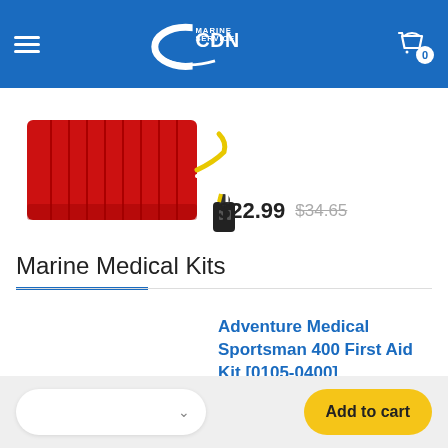[Figure (logo): CDN Marine Service logo — white swoosh/boat shape with CDN in bold white text and MARINE SERVICE in white text on blue background]
[Figure (photo): Red rectangular marine trailer light with yellow/white wire and black connector plug]
$22.99  $34.65
Marine Medical Kits
Adventure Medical Sportsman 400 First Aid Kit [0105-0400]